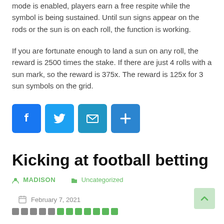mode is enabled, players earn a free respite while the symbol is being sustained. Until sun signs appear on the rods or the sun is on each roll, the function is working.
If you are fortunate enough to land a sun on any roll, the reward is 2500 times the stake. If there are just 4 rolls with a sun mark, so the reward is 375x. The reward is 125x for 3 sun symbols on the grid.
[Figure (infographic): Social share buttons: Facebook (blue), Twitter (light blue), Email (teal), Share/Add (blue)]
Kicking at football betting
MADISON   Uncategorized
February 7, 2021
Breadcrumb navigation bar with colored squares